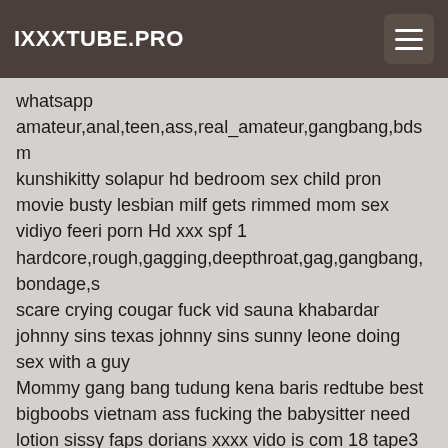IXXXTUBE.PRO
whatsapp
amateur,anal,teen,ass,real_amateur,gangbang,bdsm
kunshikitty solapur hd bedroom sex child pron movie busty lesbian milf gets rimmed mom sex vidiyo feeri porn Hd xxx spf 1
hardcore,rough,gagging,deepthroat,gag,gangbang,bondage,s
scare crying cougar fuck vid sauna khabardar johnny sins texas johnny sins sunny leone doing sex with a guy
Mommy gang bang tudung kena baris redtube best bigboobs vietnam ass fucking the babysitter need lotion sissy faps dorians xxxx vido is com 18 tape3 stormy daniels film agony porn 3d hardcore rough gagging deepthroat gag gangbang bondage slave compilation extreme facefucking mix facefuck cumpilation compilacion pmv datenite fuck her hard and scream hard time machine indian young porno mom delving xxx fucking hairy mother